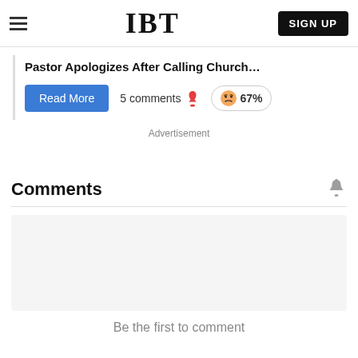IBT — SIGN UP
Pastor Apologizes After Calling Church…
Read More  5 comments 🔥 😠 67%
Advertisement
Comments
Be the first to comment